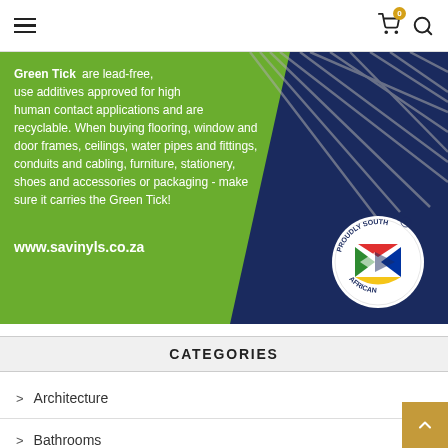Navigation bar with hamburger menu, cart icon (badge: 0), and search icon
[Figure (illustration): Promotional banner for savinyls.co.za Green Tick certification. Green and dark navy diagonal split background with text overlay: 'Green Tick are lead-free, use additives approved for high human contact applications and are recyclable. When buying flooring, window and door frames, ceilings, water pipes and fittings, conduits and cabling, furniture, stationery, shoes and accessories or packaging - make sure it carries the Green Tick!' URL: www.savinyls.co.za. Proudly South African logo badge bottom right.]
CATEGORIES
Architecture
Bathrooms (1)